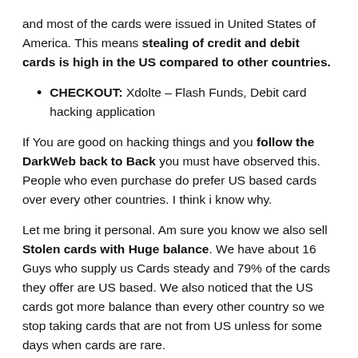and most of the cards were issued in United States of America. This means stealing of credit and debit cards is high in the US compared to other countries.
CHECKOUT: Xdolte – Flash Funds, Debit card hacking application
If You are good on hacking things and you follow the DarkWeb back to Back you must have observed this. People who even purchase do prefer US based cards over every other countries. I think i know why.
Let me bring it personal. Am sure you know we also sell Stolen cards with Huge balance. We have about 16 Guys who supply us Cards steady and 79% of the cards they offer are US based. We also noticed that the US cards got more balance than every other country so we stop taking cards that are not from US unless for some days when cards are rare.